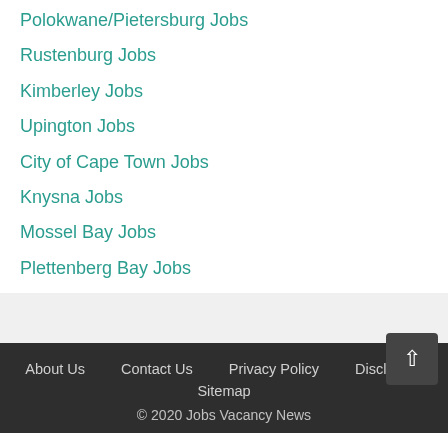Polokwane/Pietersburg Jobs
Rustenburg Jobs
Kimberley Jobs
Upington Jobs
City of Cape Town Jobs
Knysna Jobs
Mossel Bay Jobs
Plettenberg Bay Jobs
About Us   Contact Us   Privacy Policy   Disclaimer   Sitemap   © 2020 Jobs Vacancy News